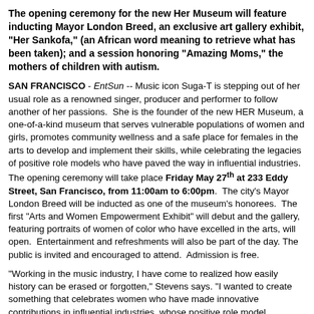The opening ceremony for the new Her Museum will feature inducting Mayor London Breed, an exclusive art gallery exhibit, "Her Sankofa," (an African word meaning to retrieve what has been taken); and a session honoring "Amazing Moms," the mothers of children with autism.
SAN FRANCISCO - EntSun -- Music icon Suga-T is stepping out of her usual role as a renowned singer, producer and performer to follow another of her passions. She is the founder of the new HER Museum, a one-of-a-kind museum that serves vulnerable populations of women and girls, promotes community wellness and a safe place for females in the arts to develop and implement their skills, while celebrating the legacies of positive role models who have paved the way in influential industries. The opening ceremony will take place Friday May 27th at 233 Eddy Street, San Francisco, from 11:00am to 6:00pm. The city's Mayor London Breed will be inducted as one of the museum's honorees. The first "Arts and Women Empowerment Exhibit" will debut and the gallery, featuring portraits of women of color who have excelled in the arts, will open. Entertainment and refreshments will also be part of the day. The public is invited and encouraged to attend. Admission is free.
"Working in the music industry, I have come to realized how easily history can be erased or forgotten," Stevens says. "I wanted to create something that celebrates women who have made innovative contributions in influential industries, whose positive role models...